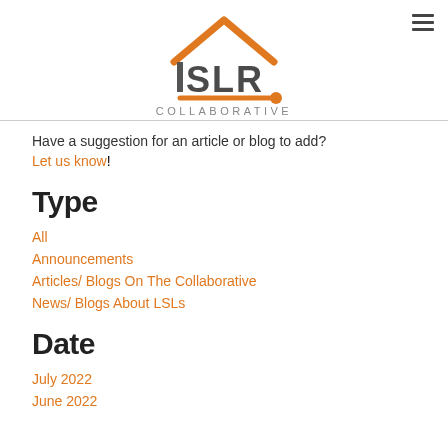[Figure (logo): LSR Collaborative logo with house roof graphic in orange, letters LSR in dark gray, horizontal orange rod/bar element below, and text COLLABORATIVE underneath]
Have a suggestion for an article or blog to add? Let us know!
Type
All
Announcements
Articles/ Blogs On The Collaborative
News/ Blogs About LSLs
Date
July 2022
June 2022